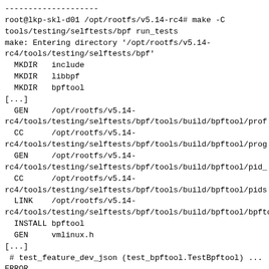--------------------
root@lkp-skl-d01 /opt/rootfs/v5.14-rc4# make -C
tools/testing/selftests/bpf run_tests
make: Entering directory '/opt/rootfs/v5.14-
rc4/tools/testing/selftests/bpf'
  MKDIR   include
  MKDIR   libbpf
  MKDIR   bpftool
[...]
  GEN     /opt/rootfs/v5.14-
rc4/tools/testing/selftests/bpf/tools/build/bpftool/prof
  CC      /opt/rootfs/v5.14-
rc4/tools/testing/selftests/bpf/tools/build/bpftool/prog
  GEN     /opt/rootfs/v5.14-
rc4/tools/testing/selftests/bpf/tools/build/bpftool/pid_
  CC      /opt/rootfs/v5.14-
rc4/tools/testing/selftests/bpf/tools/build/bpftool/pids
  LINK    /opt/rootfs/v5.14-
rc4/tools/testing/selftests/bpf/tools/build/bpftool/bpftc
  INSTALL bpftool
  GEN     vmlinux.h
[...]
 # test_feature_dev_json (test_bpftool.TestBpftool) ...
ERROR
 # test_feature_kernel (test_bpftool.TestBpftool) ...
ERROR
 # test_feature_kernel_full (test_bpftool.TestBpftool)
... ERROR
 # test_feature_kernel_full_vs_not_full
(test_bpftool.TestBpftool) ... ERROR
 # test_feature_reuse (test_bpftool.TestBpftool)